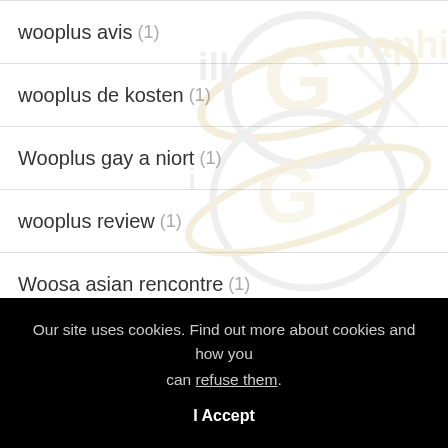wooplus avis (1)
wooplus de kosten (1)
Wooplus gay a niort (1)
wooplus review (1)
Woosa asian rencontre (1)
worldpaydayloans.com instant payday loans (1)
Our site uses cookies. Find out more about cookies and how you can refuse them. I Accept